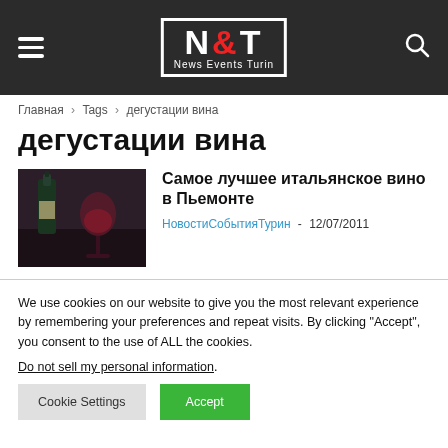NET News Events Turin — navigation header
Главная › Tags › дегустации вина
дегустации вина
[Figure (photo): Photo of wine bottle and wine glass on dark background]
Самое лучшее итальянское вино в Пьемонте
НовостиСобытияТурин - 12/07/2011
We use cookies on our website to give you the most relevant experience by remembering your preferences and repeat visits. By clicking "Accept", you consent to the use of ALL the cookies.
Do not sell my personal information.